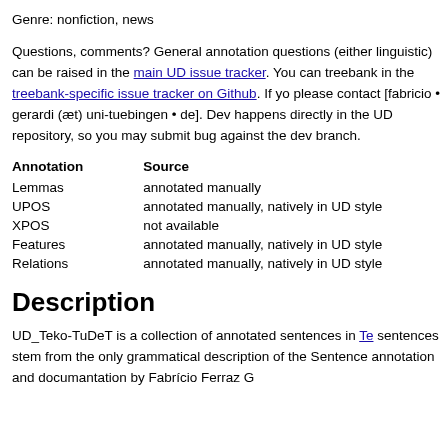Genre: nonfiction, news
Questions, comments? General annotation questions (either linguistic) can be raised in the main UD issue tracker. You can treebank in the treebank-specific issue tracker on Github. If yo please contact [fabricio • gerardi (æt) uni-tuebingen • de]. Dev happens directly in the UD repository, so you may submit bug against the dev branch.
| Annotation | Source |
| --- | --- |
| Lemmas | annotated manually |
| UPOS | annotated manually, natively in UD style |
| XPOS | not available |
| Features | annotated manually, natively in UD style |
| Relations | annotated manually, natively in UD style |
Description
UD_Teko-TuDeT is a collection of annotated sentences in Te sentences stem from the only grammatical description of the Sentence annotation and documantation by Fabrício Ferraz G